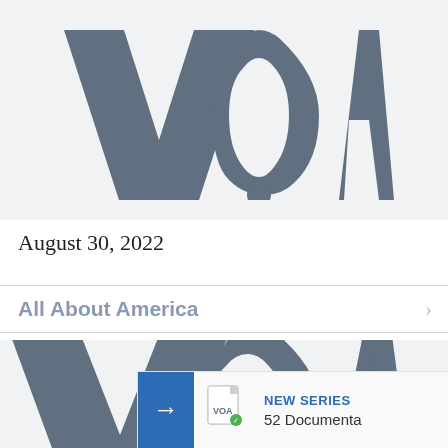[Figure (logo): VOA (Voice of America) logo in dark steel blue/grey, large stylized letters V O A, cropped at top, on light grey background]
August 30, 2022
All About America
[Figure (logo): VOA (Voice of America) logo in dark steel blue/grey, large stylized letters V O A, on light grey background card, partially visible]
NEW SERIES
52 Documenta